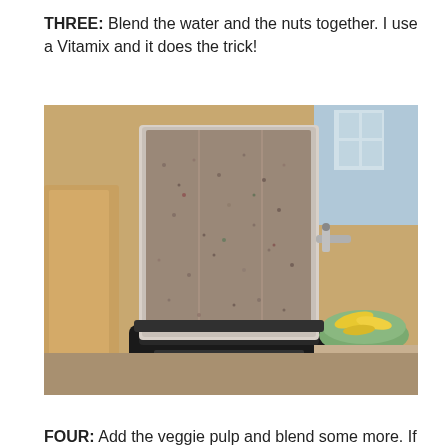THREE: Blend the water and the nuts together. I use a Vitamix and it does the trick!
[Figure (photo): A blender (Vitamix) filled with a gray-brown blended nut/seed mixture. The blender jar is transparent and shows the thick blended liquid inside. In the background is a kitchen counter with a bowl of bananas and other items.]
FOUR: Add the veggie pulp and blend some more. If